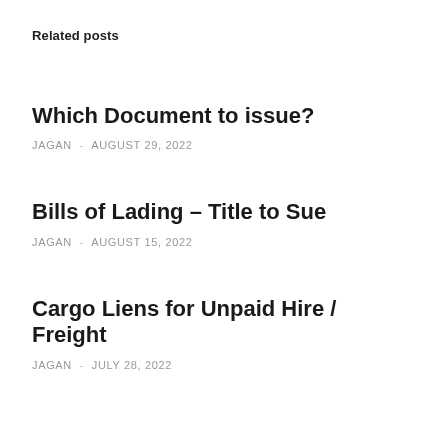Related posts
Which Document to issue?
JAGAN  -  AUGUST 29, 2022
Bills of Lading – Title to Sue
JAGAN  -  AUGUST 15, 2022
Cargo Liens for Unpaid Hire / Freight
JAGAN  -  JULY 28, 2022